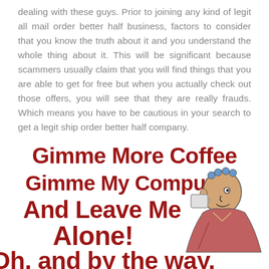dealing with these guys. Prior to joining any kind of legit all mail order better half business, factors to consider that you know the truth about it and you understand the whole thing about it. This will be significant because scammers usually claim that you will find things that you are able to get for free but when you actually check out those offers, you will see that they are really frauds. Which means you have to be cautious in your search to get a legit ship order better half company.
[Figure (illustration): Humorous text image with dark red stylized font reading: 'Gimme More Coffee / Gimme My Computer / And Leave Me / Alone!' with a cartoon illustration of a man drinking from a coffee mug, and partial text at the bottom '(Oh, and by the way,']